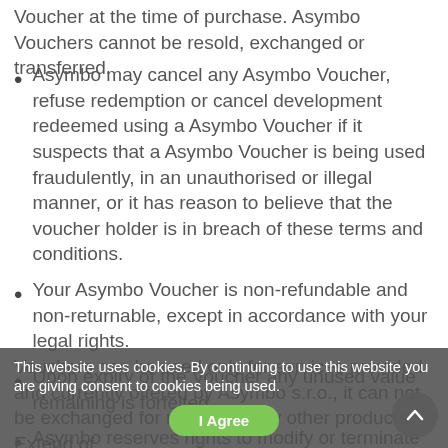Voucher at the time of purchase. Asymbo Vouchers cannot be resold, exchanged or transferred.
Asymbo may cancel any Asymbo Voucher, refuse redemption or cancel development redeemed using a Asymbo Voucher if it suspects that a Asymbo Voucher is being used fraudulently, in an unauthorised or illegal manner, or it has reason to believe that the voucher holder is in breach of these terms and conditions.
Your Asymbo Voucher is non-refundable and non-returnable, except in accordance with your legal rights.
Upon expiry of the Voucher any unused value remaining is forfeited.
Asymbo reserves rights to modify or terminate this program at any time.
Vouchers can be used only for services provided and currently offered by Asymbo s.r.o., it can not be exchanged for money or any other products. Extend of
This website uses cookies. By continuing to use this website you are giving consent to cookies being used.